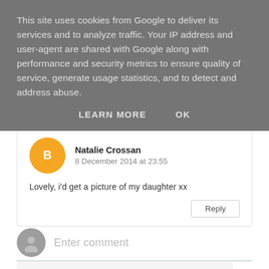This site uses cookies from Google to deliver its services and to analyze traffic. Your IP address and user-agent are shared with Google along with performance and security metrics to ensure quality of service, generate usage statistics, and to detect and address abuse.
LEARN MORE   OK
Natalie Crossan
8 December 2014 at 23:55
Lovely, i'd get a picture of my daughter xx
Reply
Enter comment